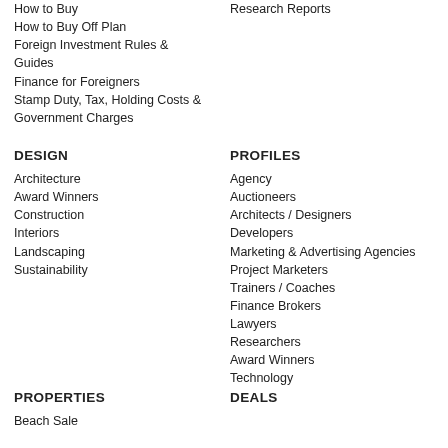How to Buy
How to Buy Off Plan
Foreign Investment Rules & Guides
Finance for Foreigners
Stamp Duty, Tax, Holding Costs & Government Charges
Research Reports
DESIGN
Architecture
Award Winners
Construction
Interiors
Landscaping
Sustainability
PROFILES
Agency
Auctioneers
Architects / Designers
Developers
Marketing & Advertising Agencies
Project Marketers
Trainers / Coaches
Finance Brokers
Lawyers
Researchers
Award Winners
Technology
PROPERTIES
Beach Sale
DEALS